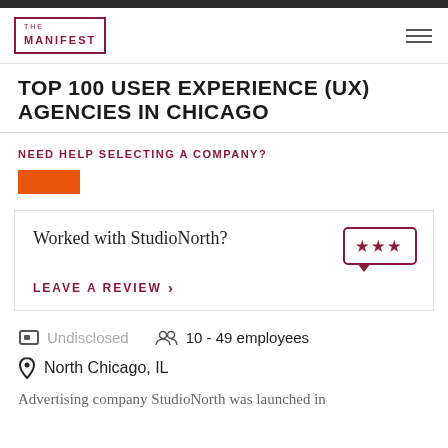THE MANIFEST
TOP 100 USER EXPERIENCE (UX) AGENCIES IN CHICAGO
NEED HELP SELECTING A COMPANY?
Worked with StudioNorth?
LEAVE A REVIEW >
Undisclosed
10 - 49 employees
North Chicago, IL
Advertising company StudioNorth was launched in